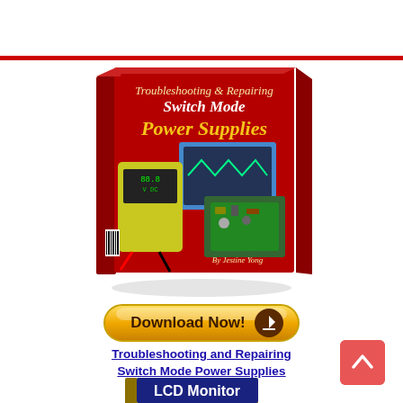[Figure (illustration): Red horizontal divider bar across page]
[Figure (photo): Book cover: Troubleshooting & Repairing Switch Mode Power Supplies by Jestine Yong. Red cover with yellow title text and images of multimeter and circuit board.]
[Figure (illustration): Golden Download Now! button with brown download arrow icon]
Troubleshooting and Repairing Switch Mode Power Supplies
[Figure (photo): Partial book cover: LCD Monitor Repair, yellow cover, partially visible at bottom of page]
[Figure (illustration): Scroll-to-top button, red rounded square with white chevron/caret pointing up, bottom right corner]